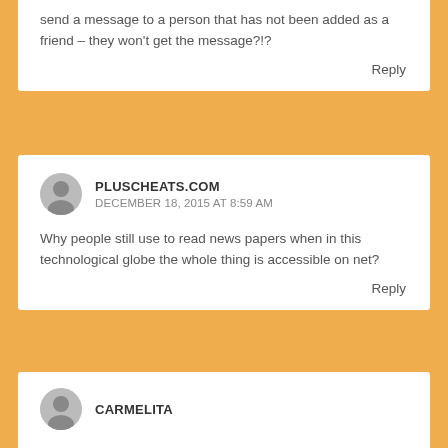send a message to a person that has not been added as a friend – they won't get the message?!?
Reply
PLUSCHEATS.COM
DECEMBER 18, 2015 AT 8:59 AM
Why people still use to read news papers when in this technological globe the whole thing is accessible on net?
Reply
CARMELITA